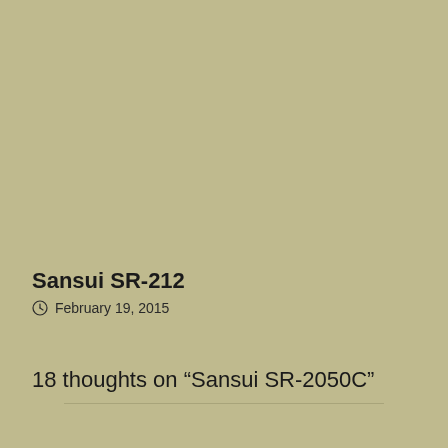Sansui SR-212
February 19, 2015
18 thoughts on “Sansui SR-2050C”